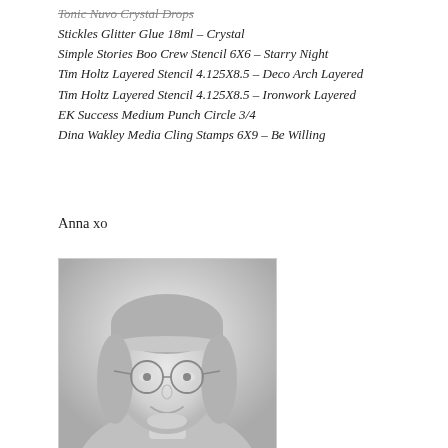Tonic Nuvo Crystal Drops
Stickles Glitter Glue 18ml – Crystal
Simple Stories Boo Crew Stencil 6X6 – Starry Night
Tim Holtz Layered Stencil 4.125X8.5 – Deco Arch Layered
Tim Holtz Layered Stencil 4.125X8.5 – Ironwork Layered
EK Success Medium Punch Circle 3/4
Dina Wakley Media Cling Stamps 6X9 – Be Willing
Anna xo
[Figure (photo): Black and white portrait photo of a smiling woman with blonde bangs and round glasses, framed with a thin border.]